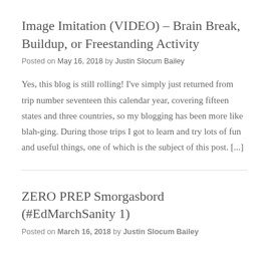Image Imitation (VIDEO) – Brain Break, Buildup, or Freestanding Activity
Posted on May 16, 2018 by Justin Slocum Bailey
Yes, this blog is still rolling! I've simply just returned from trip number seventeen this calendar year, covering fifteen states and three countries, so my blogging has been more like blah-ging. During those trips I got to learn and try lots of fun and useful things, one of which is the subject of this post. [...]
ZERO PREP Smorgasbord (#EdMarchSanity 1)
Posted on March 16, 2018 by Justin Slocum Bailey